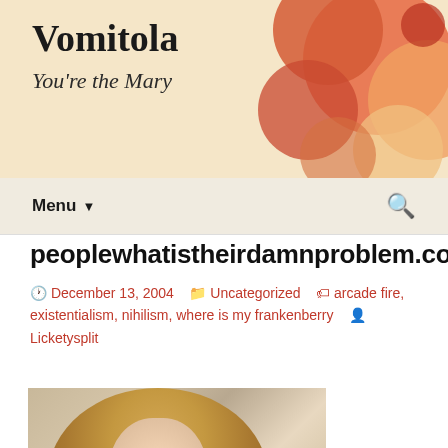Vomitola
You're the Mary
Menu
peoplewhatistheirdamnproblem.com
December 13, 2004   Uncategorized   arcade fire, existentialism, nihilism, where is my frankenberry   Licketysplit
[Figure (photo): Portrait photo of a blonde woman with feathered hair, wearing pink/red clothing, posed against a blue background with a pink pillow]